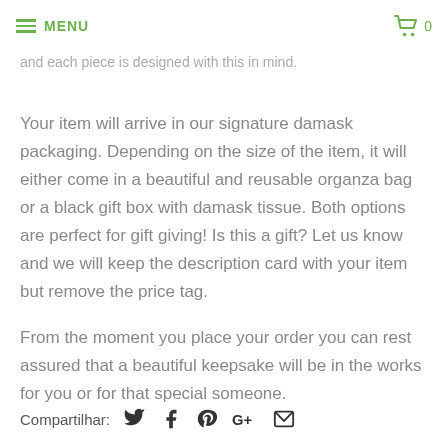MENU  🛒 0
and each piece is designed with this in mind.
Your item will arrive in our signature damask packaging. Depending on the size of the item, it will either come in a beautiful and reusable organza bag or a black gift box with damask tissue. Both options are perfect for gift giving! Is this a gift? Let us know and we will keep the description card with your item but remove the price tag.
From the moment you place your order you can rest assured that a beautiful keepsake will be in the works for you or for that special someone.
Compartilhar: